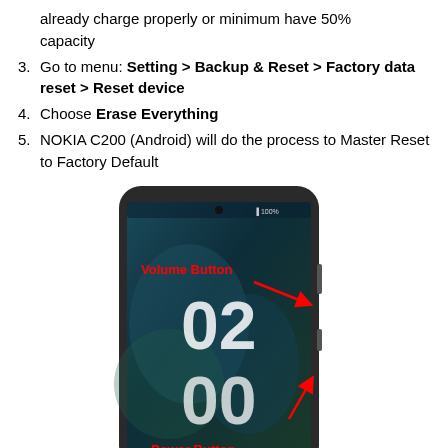already charge properly or minimum have 50% capacity
3. Go to menu: Setting > Backup & Reset > Factory data reset > Reset device
4. Choose Erase Everything
5. NOKIA C200 (Android) will do the process to Master Reset to Factory Default
[Figure (photo): Nokia C200 Android smartphone showing lock screen with time 02:00, with red labels and arrows pointing to Volume Button and Power Button]